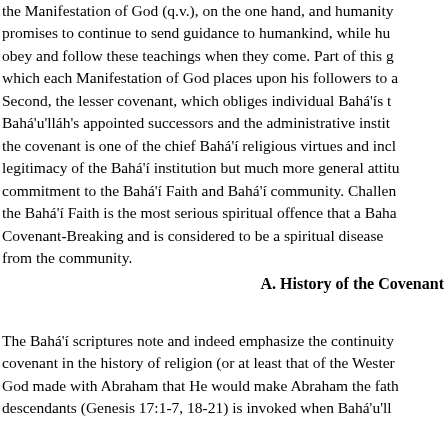Bahá'í Faith recognizes two covenants: first, the greater covenant between the Manifestation of God (q.v.), on the one hand, and humanity... promises to continue to send guidance to humankind, while hu... obey and follow these teachings when they come. Part of this g... which each Manifestation of God places upon his followers to a... Second, the lesser covenant, which obliges individual Bahá'ís t... Bahá'u'lláh's appointed successors and the administrative instit... the covenant is one of the chief Bahá'í religious virtues and incl... legitimacy of the Bahá'í institution but much more general attitu... commitment to the Bahá'í Faith and Bahá'í community. Challen... the Bahá'í Faith is the most serious spiritual offence that a Baha... Covenant-Breaking and is considered to be a spiritual disease ... from the community.
A. History of the Covenant
The Bahá'í scriptures note and indeed emphasize the continuity... covenant in the history of religion (or at least that of the Wester... God made with Abraham that He would make Abraham the fath... descendants (Genesis 17:1-7, 18-21) is invoked when Bahá'u'll...